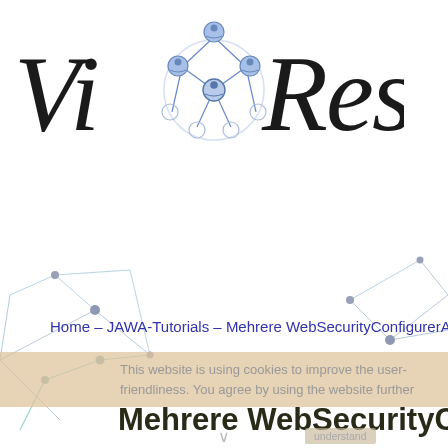[Figure (logo): ViXXResist logo with network graph icon between 'Vi' and 'Resist' in italic serif font]
[Figure (illustration): Background network graph lines and nodes decorating left and right sides of page]
Home – JAWA-Tutorials – Mehrere WebSecurityConfigurerA
This website is using cookies to improve the user-friendliness. You agree by using the website further
Mehrere WebSecurityC